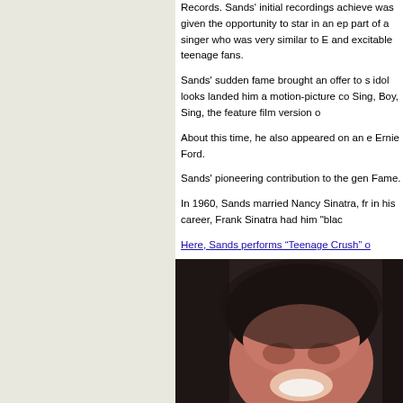Records. Sands' initial recordings achieve was given the opportunity to star in an ep part of a singer who was very similar to E and excitable teenage fans.
Sands' sudden fame brought an offer to s idol looks landed him a motion-picture co Sing, Boy, Sing, the feature film version o
About this time, he also appeared on an e Ernie Ford.
Sands' pioneering contribution to the gen Fame.
In 1960, Sands married Nancy Sinatra, fr in his career, Frank Sinatra had him "blac
Here, Sands performs “Teenage Crush” o
[Figure (photo): Close-up photograph of a man with dark hair, smiling, wearing dark clothing]